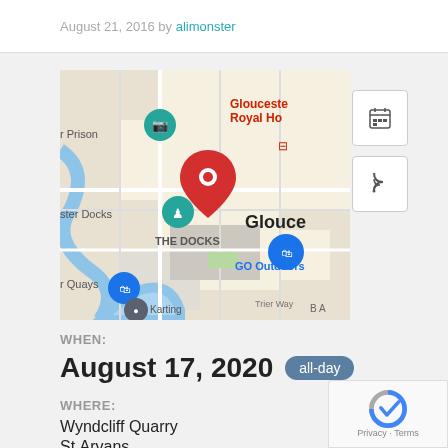August 21, 2016 by alimonster
[Figure (map): Google Maps screenshot showing Gloucester city area with red location pin over The Docks area. Visible labels include Gloucester Royal Hospital, Gloucester Docks, GO Outdoors, r Quays, r Prison, THE DOCKS, Trier Way, Karting, B A.]
WHEN:
August 17, 2020  all-day
WHERE:
Wyndcliff Quarry
St.Arvans